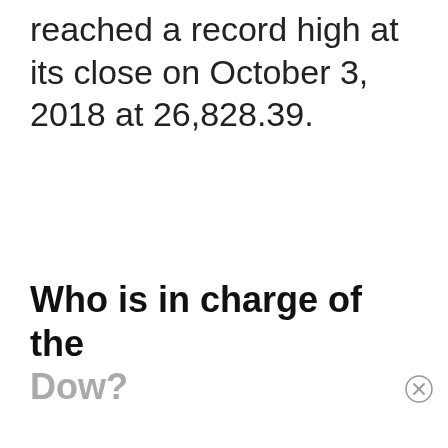reached a record high at its close on October 3, 2018 at 26,828.39.
Who is in charge of the Dow?